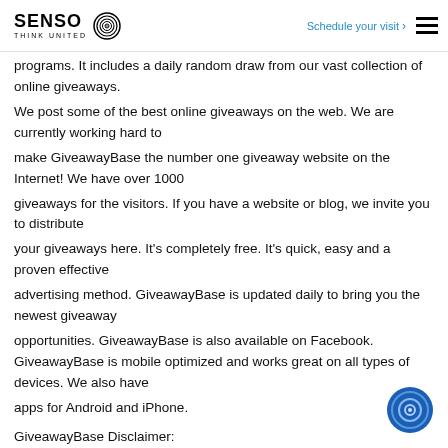SENSO THINK UNITED | Schedule your visit >
programs. It includes a daily random draw from our vast collection of online giveaways. We post some of the best online giveaways on the web. We are currently working hard to make GiveawayBase the number one giveaway website on the Internet! We have over 1000 giveaways for the visitors. If you have a website or blog, we invite you to distribute your giveaways here. It's completely free. It's quick, easy and a proven effective advertising method. GiveawayBase is updated daily to bring you the newest giveaway opportunities. GiveawayBase is also available on Facebook. GiveawayBase is mobile optimized and works great on all types of devices. We also have apps for Android and iPhone.
GiveawayBase Disclaimer: